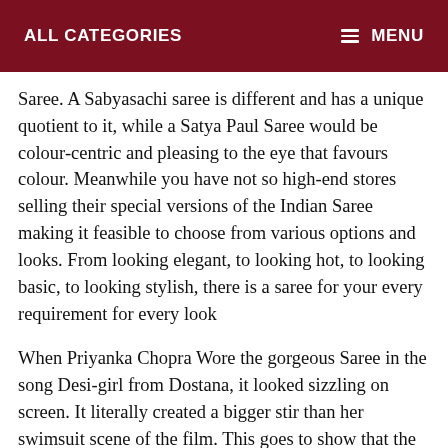ALL CATEGORIES    MENU
Saree. A Sabyasachi saree is different and has a unique quotient to it, while a Satya Paul Saree would be colour-centric and pleasing to the eye that favours colour. Meanwhile you have not so high-end stores selling their special versions of the Indian Saree making it feasible to choose from various options and looks. From looking elegant, to looking hot, to looking basic, to looking stylish, there is a saree for your every requirement for every look
When Priyanka Chopra Wore the gorgeous Saree in the song Desi-girl from Dostana, it looked sizzling on screen. It literally created a bigger stir than her swimsuit scene of the film. This goes to show that the Indian Saree concept is not drab, and it's not overtly traditional any longer either. It has taken a turn and today, the saree is embodied internationally as well. And this is a proud moment for India for having come a long way from having seven yard